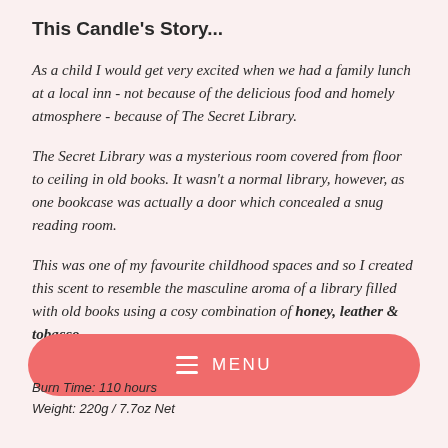This Candle's Story...
As a child I would get very excited when we had a family lunch at a local inn - not because of the delicious food and homely atmosphere - because of The Secret Library.
The Secret Library was a mysterious room covered from floor to ceiling in old books. It wasn't a normal library, however, as one bookcase was actually a door which concealed a snug reading room.
This was one of my favourite childhood spaces and so I created this scent to resemble the masculine aroma of a library filled with old books using a cosy combination of honey, leather & tobacco.
Burn Time: 110 hours
Weight: 220g / 7.7oz Net